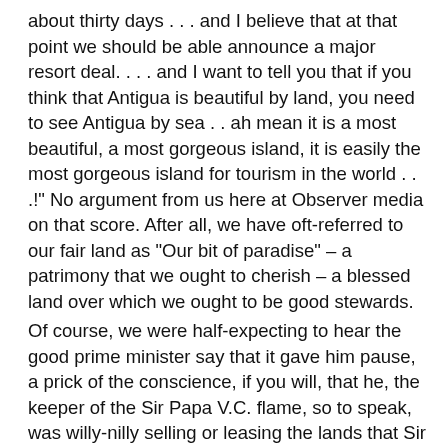about thirty days . . . and I believe that at that point we should be able announce a major resort deal. . . . and I want to tell you that if you think that Antigua is beautiful by land, you need to see Antigua by sea . . ah mean it is a most beautiful, a most gorgeous island, it is easily the most gorgeous island for tourism in the world . . .!" No argument from us here at Observer media on that score. After all, we have oft-referred to our fair land as "Our bit of paradise" – a patrimony that we ought to cherish – a blessed land over which we ought to be good stewards.
Of course, we were half-expecting to hear the good prime minister say that it gave him pause, a prick of the conscience, if you will, that he, the keeper of the Sir Papa V.C. flame, so to speak, was willy-nilly selling or leasing the lands that Sir V.C. expended so much blood, sweat and treasure to purchase. Indeed, it almost appeared to us that the good PM could barely contain his delight as he waxed rhapsodic that the UAE people will determine their "ideal" spot and many more "millionaires, multi-millionaires and billionaires" will soon be moving into luxury tents in Barbuda and harvesting their and estate as part of the